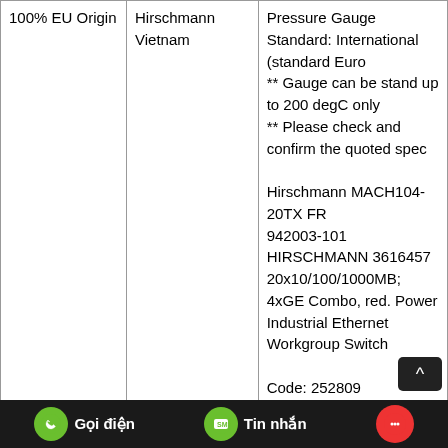| Origin | Supplier | Description |
| --- | --- | --- |
| 100% EU Origin | Hirschmann Vietnam | Pressure Gauge Standard: International (standard Euro
** Gauge can be stand up to 200 degC only
** Please check and confirm the quoted spec

Hirschmann MACH104-20TX FR
942003-101
HIRSCHMANN 3616457
20x10/100/1000MB; 4xGE Combo, red. Power Industrial Ethernet Workgroup Switch

Code: 252809
Description: 2-part stainless steel flanged ball valve 2" DN50
/ 2- teilige Edelstahl... |
Gọi điện   Tin nhắn